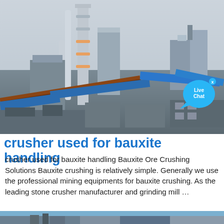[Figure (photo): Aerial view of an industrial mineral processing or cement plant with tall towers, conveyor belts, and blue machinery structures under a hazy sky. A Live Chat bubble appears in the upper right of the image.]
crusher used for bauxite handling
crusher used for bauxite handling Bauxite Ore Crushing Solutions Bauxite crushing is relatively simple. Generally we use the professional mining equipments for bauxite crushing. As the leading stone crusher manufacturer and grinding mill …
[Figure (photo): Partial view of another industrial facility, showing buildings and industrial structures against a blue sky with trees visible on the right.]